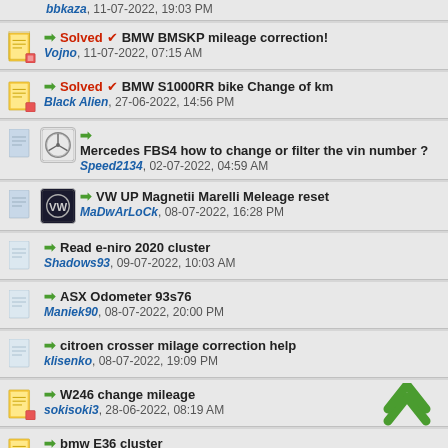bbkaza, 11-07-2022, 19:03 PM
Solved ✔ BMW BMSKP mileage correction! — Vojno, 11-07-2022, 07:15 AM
Solved ✔ BMW S1000RR bike Change of km — Black Alien, 27-06-2022, 14:56 PM
Mercedes FBS4 how to change or filter the vin number ? — Speed2134, 02-07-2022, 04:59 AM
VW UP Magnetii Marelli Meleage reset — MaDwArLoCk, 08-07-2022, 16:28 PM
Read e-niro 2020 cluster — Shadows93, 09-07-2022, 10:03 AM
ASX Odometer 93s76 — Maniek90, 08-07-2022, 20:00 PM
citroen crosser milage correction help — klisenko, 08-07-2022, 19:09 PM
W246 change mileage — sokisoki3, 28-06-2022, 08:19 AM
bmw E36 cluster — brabus, 07-07-2022, 12:23 PM
Iveco recalibrate